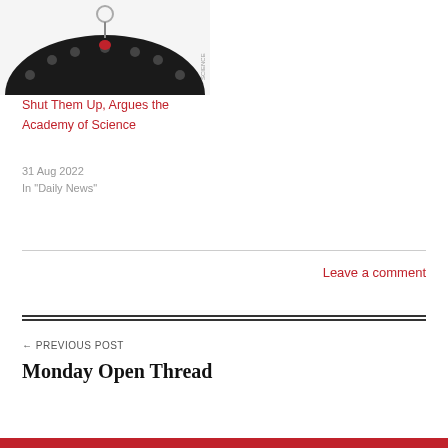[Figure (photo): Partial image of a scientific instrument or device (appears to be a black semicircular protractor-like object with holes, with a small decorative figure on top), shown cropped at top of page]
Shut Them Up, Argues the Academy of Science
31 Aug 2022
In "Daily News"
Leave a comment
← PREVIOUS POST
Monday Open Thread